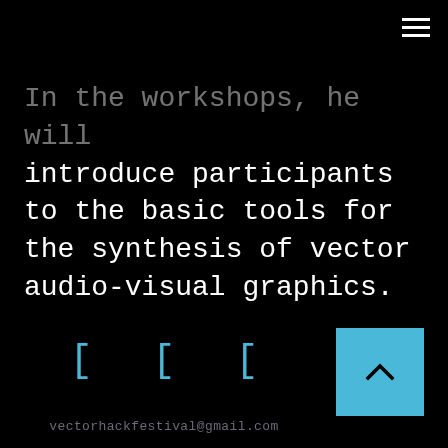☰ (hamburger menu icon)
In the workshops, he will introduce participants to the basic tools for the synthesis of vector audio-visual graphics.
[Figure (other): Three blue bracket/social media icons in a row at the bottom of the page]
[Figure (other): Back to top button: cyan/light blue square with a caret/arrow pointing upward]
vectorhackfestival@gmail.com